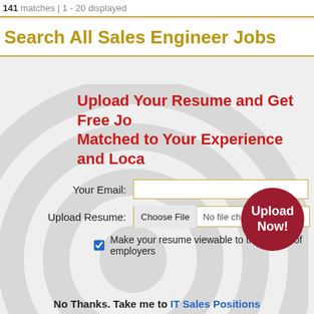141 matches | 1 - 20 displayed
Search All Sales Engineer Jobs
Upload Your Resume and Get Free Jobs Matched to Your Experience and Location
Your Email:
Upload Resume: Choose File No file chosen
Make your resume viewable to thousands of employers
[Figure (other): Dark red circular Upload Now! button]
No Thanks. Take me to IT Sales Positions